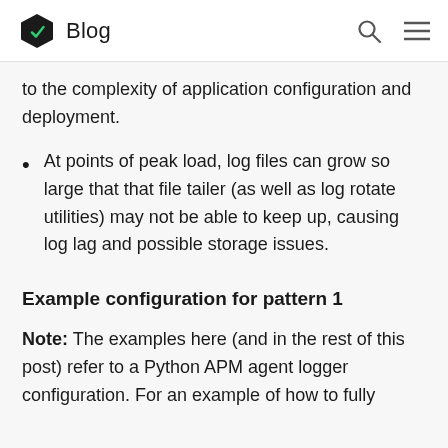Blog
to the complexity of application configuration and deployment.
At points of peak load, log files can grow so large that that file tailer (as well as log rotate utilities) may not be able to keep up, causing log lag and possible storage issues.
Example configuration for pattern 1
Note: The examples here (and in the rest of this post) refer to a Python APM agent logger configuration. For an example of how to fully